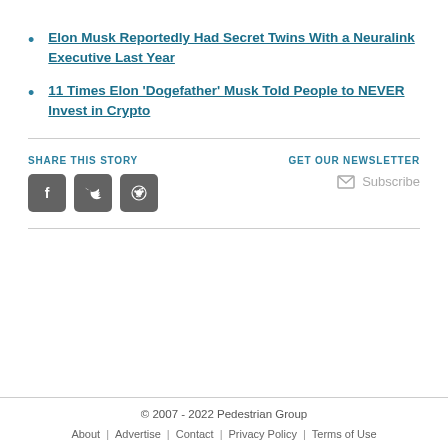Elon Musk Reportedly Had Secret Twins With a Neuralink Executive Last Year
11 Times Elon ‘Dogefather’ Musk Told People to NEVER Invest in Crypto
SHARE THIS STORY
[Figure (other): Social share buttons: Facebook, Twitter, Reddit]
GET OUR NEWSLETTER
Subscribe
© 2007 - 2022 Pedestrian Group | About | Advertise | Contact | Privacy Policy | Terms of Use